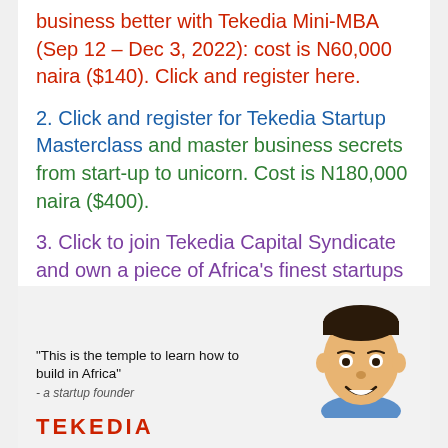business better with Tekedia Mini-MBA (Sep 12 – Dec 3, 2022): cost is N60,000 naira ($140). Click and register here.
2. Click and register for Tekedia Startup Masterclass and master business secrets from start-up to unicorn. Cost is N180,000 naira ($400).
3. Click to join Tekedia Capital Syndicate and own a piece of Africa's finest startups with a minimum of $10,000 investment.
[Figure (illustration): Illustrated portrait of a smiling man with a quote: 'This is the temple to learn how to build in Africa' - a startup founder, with TEKEDIA text logo at bottom]